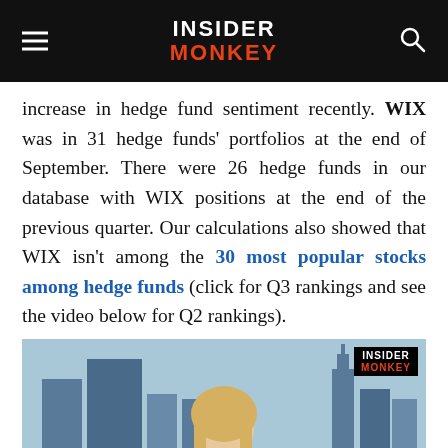INSIDER MONKEY
increase in hedge fund sentiment recently. WIX was in 31 hedge funds' portfolios at the end of September. There were 26 hedge funds in our database with WIX positions at the end of the previous quarter. Our calculations also showed that WIX isn't among the 30 most popular stocks among hedge funds (click for Q3 rankings and see the video below for Q2 rankings).
[Figure (screenshot): Video thumbnail showing a blonde woman in front of a New York City skyline with the Insider Monkey logo in the top-right corner.]